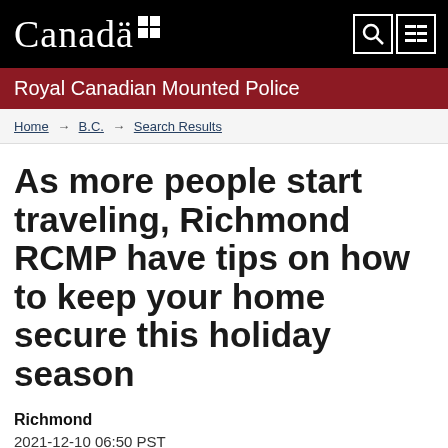Canada | Royal Canadian Mounted Police
Home → B.C. → Search Results
As more people start traveling, Richmond RCMP have tips on how to keep your home secure this holiday season
Richmond
2021-12-10 06:50 PST